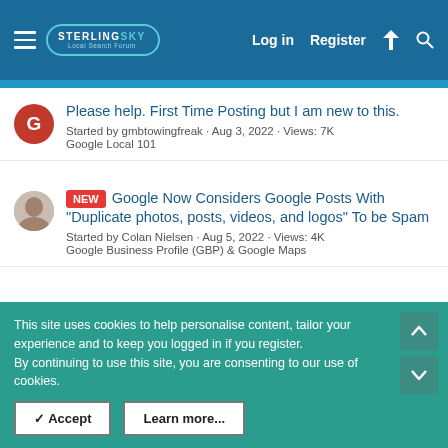Sterling Sky Local Search Forum – Log in | Register
Please help. First Time Posting but I am new to this. Started by gmbtowingfreak · Aug 3, 2022 · Views: 7K · Google Local 101
NEW – Google Now Considers Google Posts With "Duplicate photos, posts, videos, and logos" To be Spam. Started by Colan Nielsen · Aug 5, 2022 · Views: 4K · Google Business Profile (GBP) & Google Maps
Moved not Closed. Started by Mtndaun · Aug 3, 2022 · Views: 832 · Moving or Name Changes
Are These Directories Fed By Aggregators? (partial)
This site uses cookies to help personalise content, tailor your experience and to keep you logged in if you register.
By continuing to use this site, you are consenting to our use of cookies.